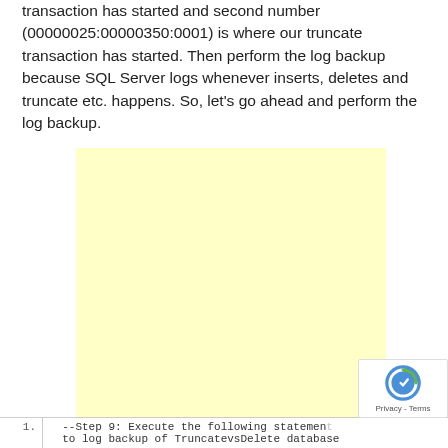transaction has started and second number (00000025:00000350:0001) is where our truncate transaction has started. Then perform the log backup because SQL Server logs whenever inserts, deletes and truncate etc. happens. So, let's go ahead and perform the log backup.
[Figure (other): Yellow advertisement placeholder block]
1.   --Step 9: Execute the following statement to log backup of TruncatevsDelete database